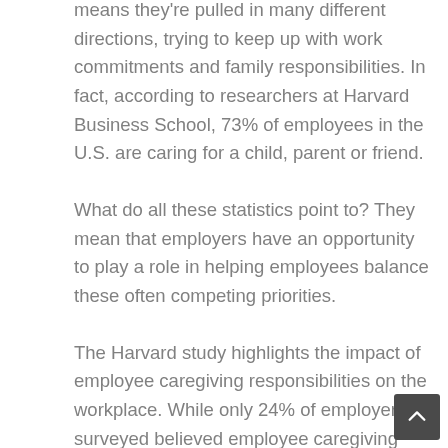means they're pulled in many different directions, trying to keep up with work commitments and family responsibilities. In fact, according to researchers at Harvard Business School, 73% of employees in the U.S. are caring for a child, parent or friend.
What do all these statistics point to? They mean that employers have an opportunity to play a role in helping employees balance these often competing priorities.
The Harvard study highlights the impact of employee caregiving responsibilities on the workplace. While only 24% of employers surveyed believed employee caregiving influenced their employees' performance at work, 80% of the employees who were